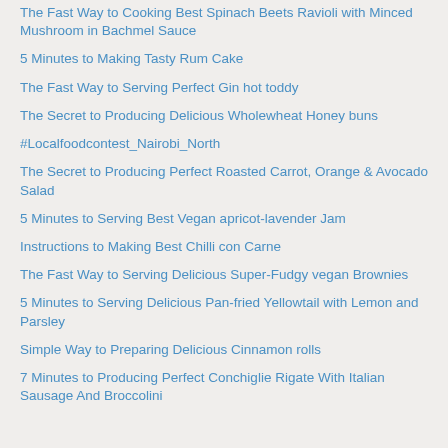The Fast Way to Cooking Best Spinach Beets Ravioli with Minced Mushroom in Bachmel Sauce
5 Minutes to Making Tasty Rum Cake
The Fast Way to Serving Perfect Gin hot toddy
The Secret to Producing Delicious Wholewheat Honey buns
#Localfoodcontest_Nairobi_North
The Secret to Producing Perfect Roasted Carrot, Orange & Avocado Salad
5 Minutes to Serving Best Vegan apricot-lavender Jam
Instructions to Making Best Chilli con Carne
The Fast Way to Serving Delicious Super-Fudgy vegan Brownies
5 Minutes to Serving Delicious Pan-fried Yellowtail with Lemon and Parsley
Simple Way to Preparing Delicious Cinnamon rolls
7 Minutes to Producing Perfect Conchiglie Rigate With Italian Sausage And Broccolini